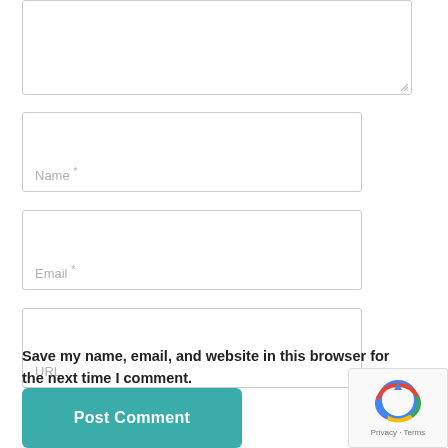[Figure (screenshot): Partial textarea input box at top of page]
Name *
Email *
URL
Save my name, email, and website in this browser for the next time I comment.
Post Comment